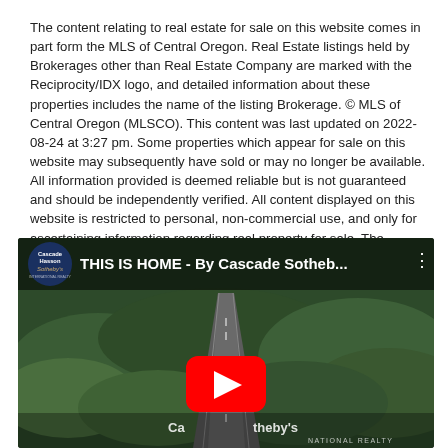The content relating to real estate for sale on this website comes in part form the MLS of Central Oregon. Real Estate listings held by Brokerages other than Real Estate Company are marked with the Reciprocity/IDX logo, and detailed information about these properties includes the name of the listing Brokerage. © MLS of Central Oregon (MLSCO). This content was last updated on 2022-08-24 at 3:27 pm. Some properties which appear for sale on this website may subsequently have sold or may no longer be available. All information provided is deemed reliable but is not guaranteed and should be independently verified. All content displayed on this website is restricted to personal, non-commercial use, and only for ascertaining information regarding real property for sale. The consumer will not copy, retransmit not redistribute any of the content from this website. The consumer is reminded that all listing content provided by automatic transmission by MLSCO is © MLS of Central Oregon (MLSCO).
[Figure (screenshot): YouTube video thumbnail showing aerial view of a road through forest with the title 'THIS IS HOME - By Cascade Sotheb...' and a Cascade Hasson Sotheby's channel logo. A red YouTube play button is visible in the center. The bottom shows 'Cascade Sotheby's NATIONAL REALTY' branding.]